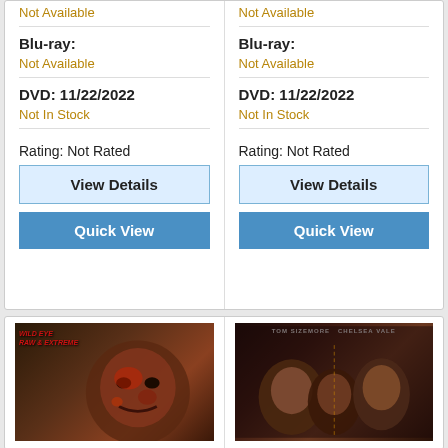Not Available
Blu-ray:
Not Available
DVD: 11/22/2022
Not In Stock
Rating: Not Rated
View Details
Quick View
Not Available
Blu-ray:
Not Available
DVD: 11/22/2022
Not In Stock
Rating: Not Rated
View Details
Quick View
[Figure (photo): Wild Eye Raw & Extreme horror movie cover with grotesque face]
[Figure (photo): Tom Sizemore and Chelsea Vale movie cover with dark thriller imagery]